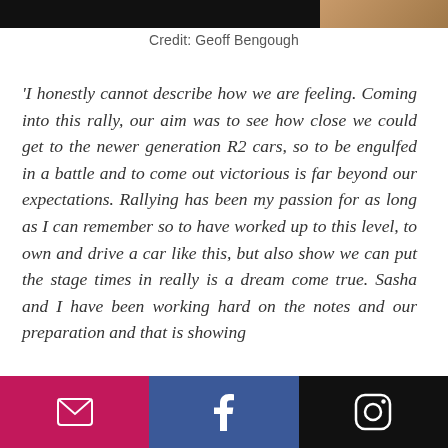Credit: Geoff Bengough
'I honestly cannot describe how we are feeling. Coming into this rally, our aim was to see how close we could get to the newer generation R2 cars, so to be engulfed in a battle and to come out victorious is far beyond our expectations. Rallying has been my passion for as long as I can remember so to have worked up to this level, to own and drive a car like this, but also show we can put the stage times in really is a dream come true. Sasha and I have been working hard on the notes and our preparation and that is showing